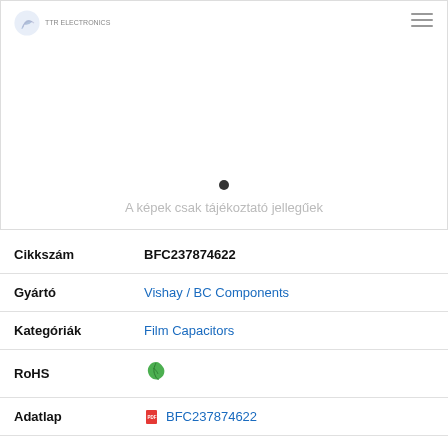[Figure (photo): Product image placeholder area with logo top-left, hamburger menu top-right, a single black dot carousel indicator, and grey caption text 'A képek csak tájékoztató jellegűek']
A képek csak tájékoztató jellegűek
| Label | Value |
| --- | --- |
| Cikkszám | BFC237874622 |
| Gyártó | Vishay / BC Components |
| Kategóriák | Film Capacitors |
| RoHS | (green leaf icon) |
| Adatlap | BFC237874622 |
| Leírás | Film Capacitors .0056uF 5% 1000volts |